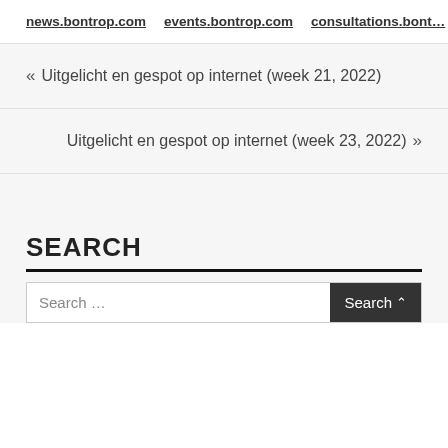news.bontrop.com   events.bontrop.com   consultations.bont…
« Uitgelicht en gespot op internet (week 21, 2022)
Uitgelicht en gespot op internet (week 23, 2022) »
SEARCH